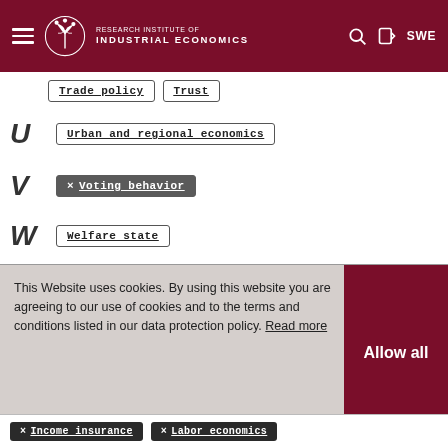Research Institute of Industrial Economics — SWE
Trade policy
Trust
U — Urban and regional economics
V — × Voting behavior (active filter)
W — Welfare state
This Website uses cookies. By using this website you are agreeing to our use of cookies and to the terms and conditions listed in our data protection policy. Read more
Allow all
× Income insurance
× Labor economics